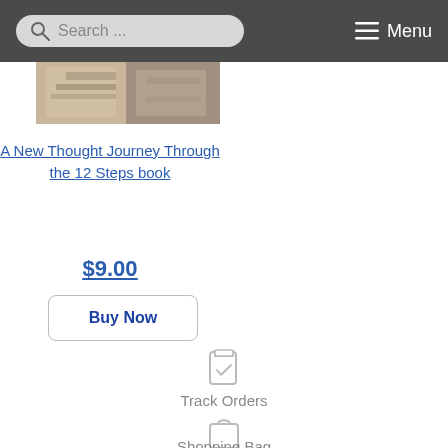Search ... Menu
[Figure (photo): Partial book cover image showing stone steps or similar texture]
A New Thought Journey Through the 12 Steps book
$9.00
Buy Now
[Figure (illustration): Track Orders icon - clipboard with checkmark]
Track Orders
[Figure (illustration): Shopping Bag icon]
Shopping Bag